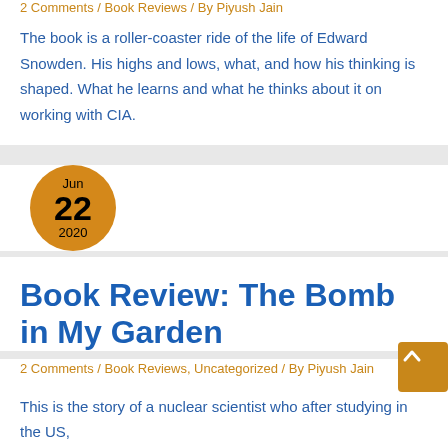2 Comments / Book Reviews / By Piyush Jain
The book is a roller-coaster ride of the life of Edward Snowden. His highs and lows, what, and how his thinking is shaped. What he learns and what he thinks about it on working with CIA.
[Figure (infographic): Orange circle date badge showing Jun 22 2020]
Book Review: The Bomb in My Garden
2 Comments / Book Reviews, Uncategorized / By Piyush Jain
This is the story of a nuclear scientist who after studying in the US,